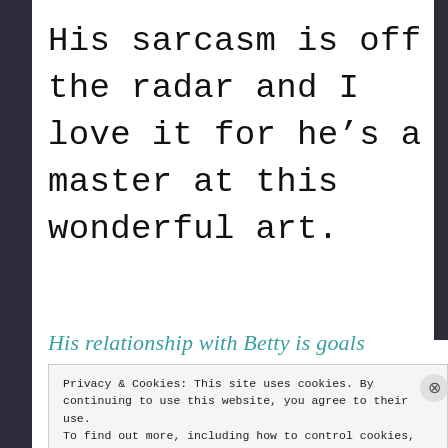His sarcasm is off the radar and I love it for he's a master at this wonderful art.
His relationship with Betty is goals
Privacy & Cookies: This site uses cookies. By continuing to use this website, you agree to their use.
To find out more, including how to control cookies, see here: Cookie Policy
Close and accept